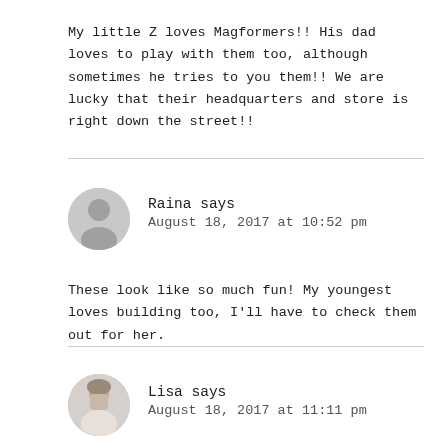My little Z loves Magformers!! His dad loves to play with them too, although sometimes he tries to you them!! We are lucky that their headquarters and store is right down the street!!
Raina says
August 18, 2017 at 10:52 pm
These look like so much fun! My youngest loves building too, I'll have to check them out for her.
Lisa says
August 18, 2017 at 11:11 pm